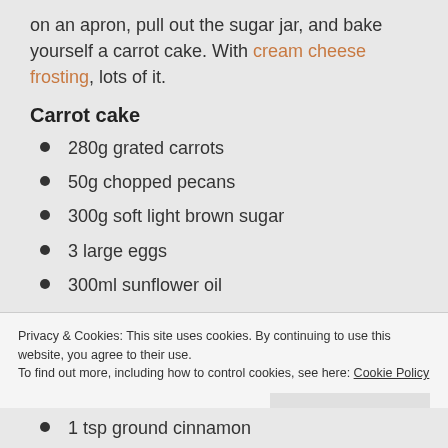on an apron, pull out the sugar jar, and bake yourself a carrot cake. With cream cheese frosting, lots of it.
Carrot cake
280g grated carrots
50g chopped pecans
300g soft light brown sugar
3 large eggs
300ml sunflower oil
Privacy & Cookies: This site uses cookies. By continuing to use this website, you agree to their use. To find out more, including how to control cookies, see here: Cookie Policy
1 tsp ground cinnamon